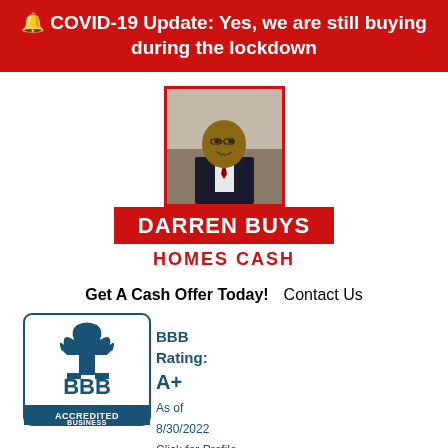🔔 COVID-19 Update: Yes, we are still buying during the lockdown
[Figure (logo): Darren Buys Homes Cash logo with photo of a man in a suit and red name plate]
Get A Cash Offer Today!  Contact Us
[Figure (logo): BBB Accredited Business seal with rating A+ as of 8/30/2022, Click for Profile]
Call Us! (916)300-7962
Menu